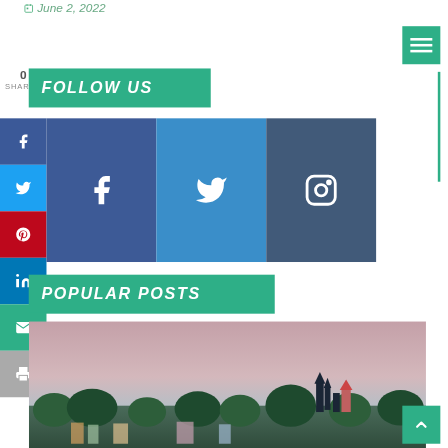June 2, 2022
0 SHARES
FOLLOW US
[Figure (infographic): Three social media icon buttons: Facebook (dark blue), Twitter (medium blue), Instagram (dark slate blue)]
POPULAR POSTS
[Figure (photo): City skyline at dusk with temples and trees, pinkish sky]